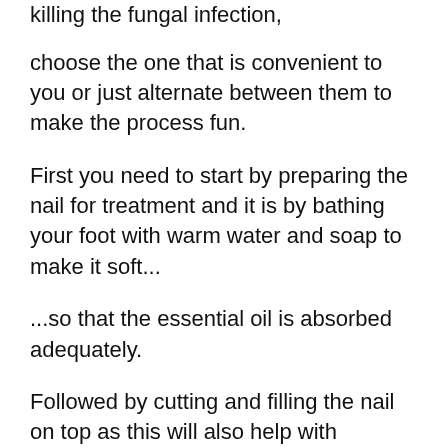killing the fungal infection,
choose the one that is convenient to you or just alternate between them to make the process fun.
First you need to start by preparing the nail for treatment and it is by bathing your foot with warm water and soap to make it soft...
...so that the essential oil is absorbed adequately.
Followed by cutting and filling the nail on top as this will also help with absorption and penetration of the oil.
Step By Step Guide That You Need